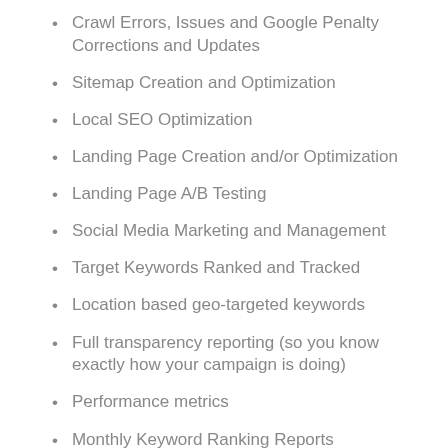Crawl Errors, Issues and Google Penalty Corrections and Updates
Sitemap Creation and Optimization
Local SEO Optimization
Landing Page Creation and/or Optimization
Landing Page A/B Testing
Social Media Marketing and Management
Target Keywords Ranked and Tracked
Location based geo-targeted keywords
Full transparency reporting (so you know exactly how your campaign is doing)
Performance metrics
Monthly Keyword Ranking Reports
Expert deep Return On Investment (ROI) analysis
Blog article creation and distribution